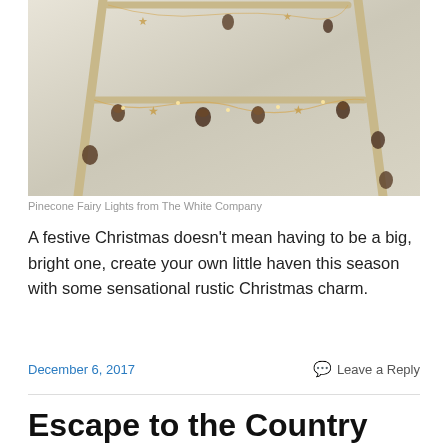[Figure (photo): A wooden A-frame ladder decorated with pinecone fairy lights and star ornaments against a light grey wall background.]
Pinecone Fairy Lights from The White Company
A festive Christmas doesn't mean having to be a big, bright one, create your own little haven this season with some sensational rustic Christmas charm.
December 6, 2017
Leave a Reply
Escape to the Country